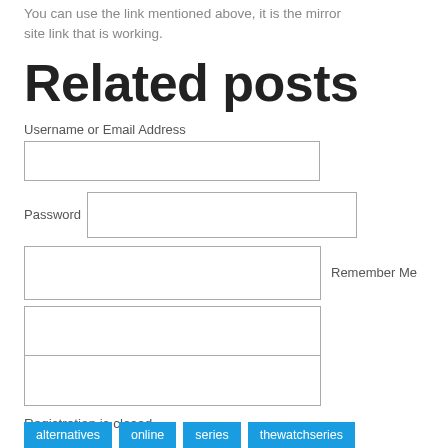You can use the link mentioned above, it is the mirror site link that is working.
Related posts
Username or Email Address
Password
Remember Me
Registration is closed.
alternatives  online  series  thewatchseries